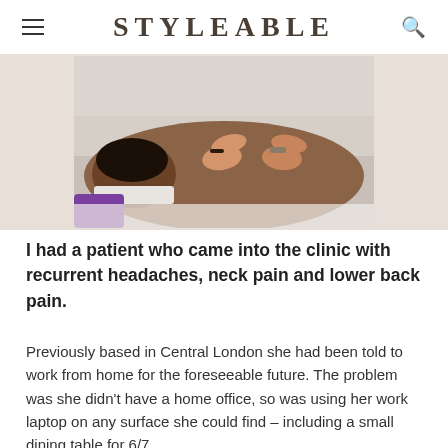STYLEABLE
[Figure (photo): A massage therapist's hands working on a patient's back, patient lying face down on a treatment table, partial view of purple clothing]
I had a patient who came into the clinic with recurrent headaches, neck pain and lower back pain.
Previously based in Central London she had been told to work from home for the foreseeable future. The problem was she didn't have a home office, so was using her work laptop on any surface she could find – including a small dining table for 6/7...